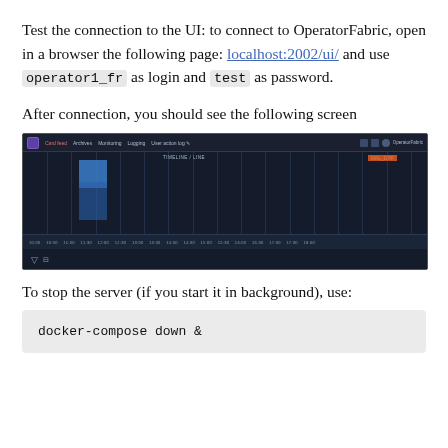Test the connection to the UI: to connect to OperatorFabric, open in a browser the following page: localhost:2002/ui/ and use operator1_fr as login and test as password.
After connection, you should see the following screen
[Figure (screenshot): Screenshot of the OperatorFabric UI showing a dark-themed timeline/chart interface with a top navigation bar, a blue highlighted bar in the chart area, and filter icons at the bottom.]
To stop the server (if you start it in background), use:
docker-compose down &